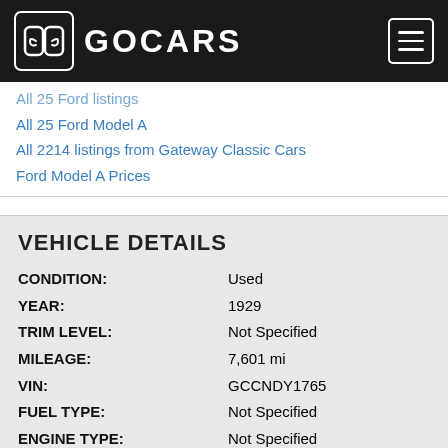GOCARS
All 25 Ford listings (partially visible)
All 25 Ford Model A
All 2214 listings from Gateway Classic Cars
Ford Model A Prices
VEHICLE DETAILS
| Field | Value |
| --- | --- |
| CONDITION: | Used |
| YEAR: | 1929 |
| TRIM LEVEL: | Not Specified |
| MILEAGE: | 7,601 mi |
| VIN: | GCCNDY1765 |
| FUEL TYPE: | Not Specified |
| ENGINE TYPE: | Not Specified |
| ENG. DISPL.: | 3-speed Manual |
| CATEGORY: | Classic/Custom |
| TRANSMISSION: | Not Specified |